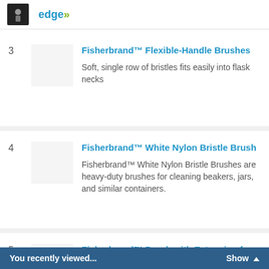edge
3 Fisherbrand™ Flexible-Handle Brushes — Soft, single row of bristles fits easily into flask necks
4 Fisherbrand™ White Nylon Bristle Brush — Fisherbrand™ White Nylon Bristle Brushes are heavy-duty brushes for cleaning beakers, jars, and similar containers.
5 Fisherbrand™ Brush with Extension for Flask Curves
You recently viewed...  Show ▲